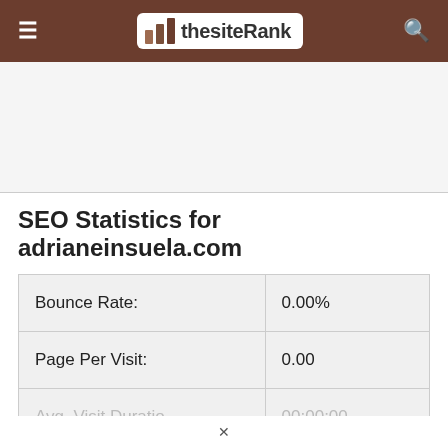thesiteRank
SEO Statistics for adrianeinsuela.com
|  |  |
| --- | --- |
| Bounce Rate: | 0.00% |
| Page Per Visit: | 0.00 |
| Avg. Visit Duration: | 00:00:00 |